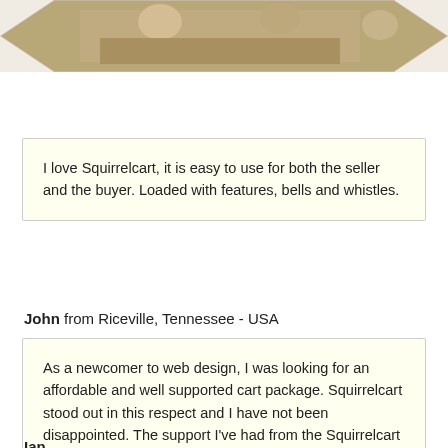[Figure (photo): Cropped hexagonal photo of people at a table, partially visible at top of page]
I love Squirrelcart, it is easy to use for both the seller and the buyer. Loaded with features, bells and whistles.
John from Riceville, Tennessee - USA
As a newcomer to web design, I was looking for an affordable and well supported cart package. Squirrelcart stood out in this respect and I have not been disappointed. The support I've had from the Squirrelcart team has been second to none too.
Ian